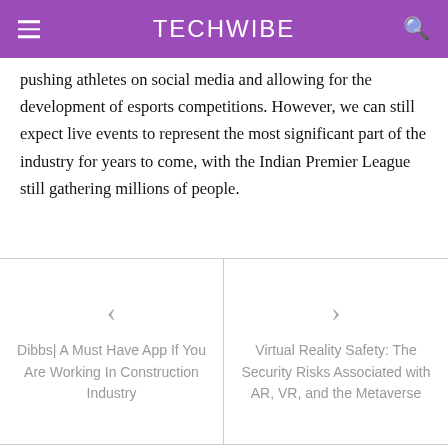TECHWIBE
pushing athletes on social media and allowing for the development of esports competitions. However, we can still expect live events to represent the most significant part of the industry for years to come, with the Indian Premier League still gathering millions of people.
< Dibbs| A Must Have App If You Are Working In Construction Industry
> Virtual Reality Safety: The Security Risks Associated with AR, VR, and the Metaverse